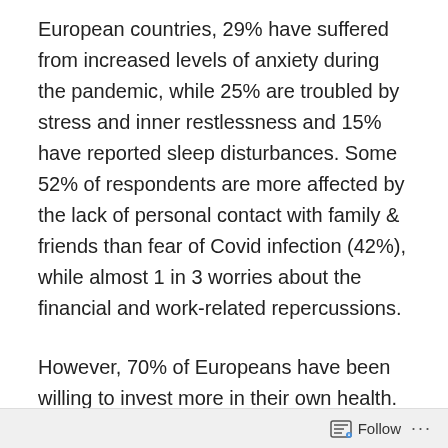European countries, 29% have suffered from increased levels of anxiety during the pandemic, while 25% are troubled by stress and inner restlessness and 15% have reported sleep disturbances. Some 52% of respondents are more affected by the lack of personal contact with family & friends than fear of Covid infection (42%), while almost 1 in 3 worries about the financial and work-related repercussions.
However, 70% of Europeans have been willing to invest more in their own health. For 73%, their doctor is the first point of call for all health-related issues, with pharmacists and scientists also highly trusted (60% each). Despite a 14 percentage-point increase in people purchasing medication online, 43% stay loyal to community
Follow ···